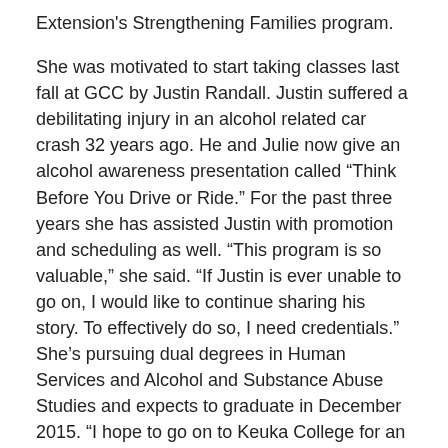Extension's Strengthening Families program.
She was motivated to start taking classes last fall at GCC by Justin Randall. Justin suffered a debilitating injury in an alcohol related car crash 32 years ago. He and Julie now give an alcohol awareness presentation called “Think Before You Drive or Ride.” For the past three years she has assisted Justin with promotion and scheduling as well. “This program is so valuable,” she said. “If Justin is ever unable to go on, I would like to continue sharing his story. To effectively do so, I need credentials.” She’s pursuing dual degrees in Human Services and Alcohol and Substance Abuse Studies and expects to graduate in December 2015. “I hope to go on to Keuka College for an ASAP (Accelerated Studies for Adults Program) degree in either social work or drug and alcohol counseling.”
The scholarship from PTK is a big help. She is one of 207 students nationwide to receive the $1,000 award. “It was very uplifting,” Julie said, of learning she had won. “It’s not a tremendous amount of money, but it takes a little bit of the financial pressure off.” Earning the scholarship is an involved process. “It’s not just writing a letter.